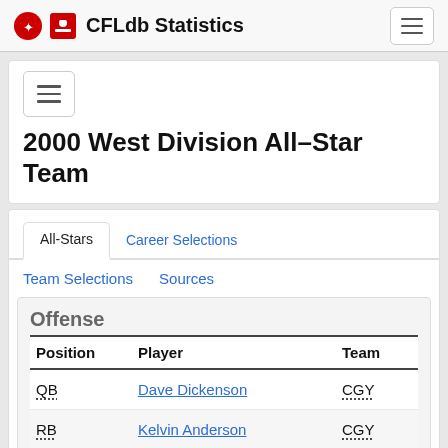CFLdb Statistics
2000 West Division All-Star Team
All-Stars | Career Selections | Team Selections | Sources
Offense
| Position | Player | Team |
| --- | --- | --- |
| QB | Dave Dickenson | CGY |
| RB | Kelvin Anderson | CGY |